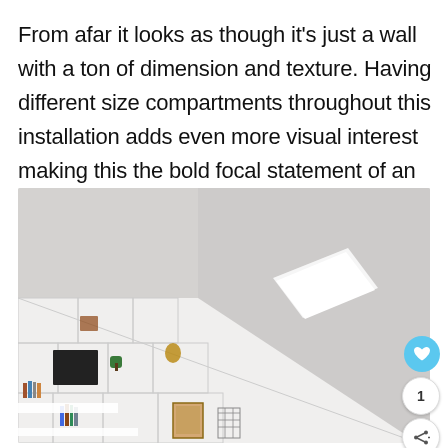From afar it looks as though it's just a wall with a ton of dimension and texture. Having different size compartments throughout this installation adds even more visual interest making this the bold focal statement of an otherwise plain room.
[Figure (photo): Interior photo of a modern room with white built-in shelving unit following the diagonal roofline/staircase, containing books and decorative objects. A skylight lets in bright light from above. Social media action buttons (heart/like, count=1, share) are overlaid in the bottom-right corner.]